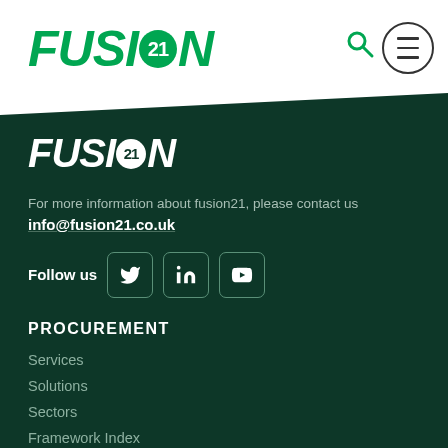FUSION21 logo header with search and menu icons
[Figure (logo): Fusion21 green logo in white header bar]
[Figure (logo): Fusion21 white logo on dark green background]
For more information about fusion21, please contact us
info@fusion21.co.uk
Follow us
PROCUREMENT
Services
Solutions
Sectors
Framework Index